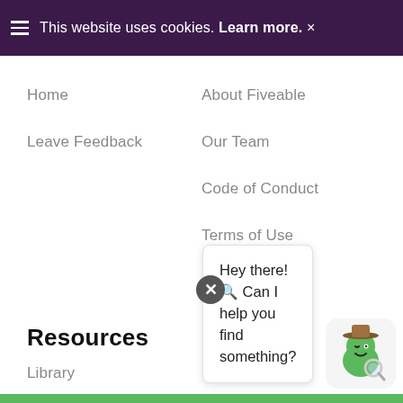This website uses cookies. Learn more. ×
Home
Leave Feedback
About Fiveable
Our Team
Code of Conduct
Terms of Use
Privacy Policy
Resources
Library
Community
Help Center
Blog
Hey there! 🔍 Can I help you find something?